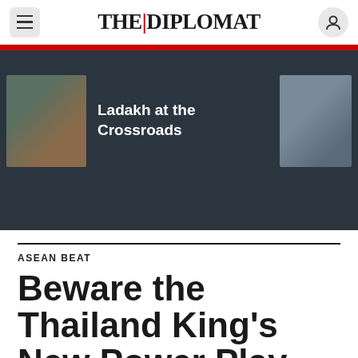THE|DIPLOMAT
[Figure (screenshot): Banner with two thumbnail images and the title 'Ladakh at the Crossroads' on a dark background]
ASEAN BEAT
Beware the Thailand King's New Power Play
The recent changes to a key